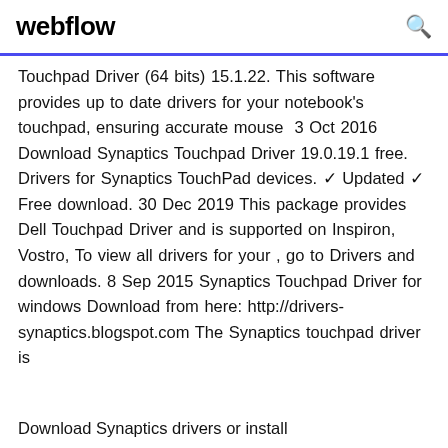webflow
Touchpad Driver (64 bits) 15.1.22. This software provides up to date drivers for your notebook's touchpad, ensuring accurate mouse  3 Oct 2016 Download Synaptics Touchpad Driver 19.0.19.1 free. Drivers for Synaptics TouchPad devices. ✓ Updated ✓ Free download. 30 Dec 2019 This package provides Dell Touchpad Driver and is supported on Inspiron, Vostro, To view all drivers for your , go to Drivers and downloads. 8 Sep 2015 Synaptics Touchpad Driver for windows Download from here: http://drivers-synaptics.blogspot.com The Synaptics touchpad driver is
Download Synaptics drivers or install